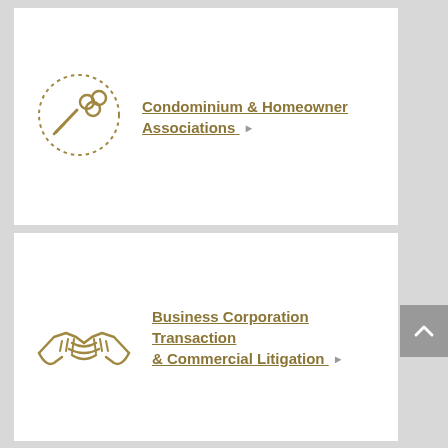[Figure (illustration): Key icon inside a dotted circle, gold/tan color, representing condominium and homeowner associations legal services]
Condominium & Homeowner Associations ▶
[Figure (illustration): Handshake icon, gold/tan color, representing business corporation transaction and commercial litigation legal services]
Business Corporation Transaction & Commercial Litigation ▶